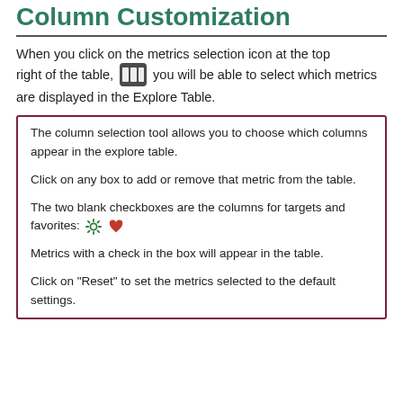Column Customization
When you click on the metrics selection icon at the top right of the table, [icon] you will be able to select which metrics are displayed in the Explore Table.
The column selection tool allows you to choose which columns appear in the explore table.

Click on any box to add or remove that metric from the table.

The two blank checkboxes are the columns for targets and favorites: [gear] [heart]

Metrics with a check in the box will appear in the table.

Click on "Reset" to set the metrics selected to the default settings.